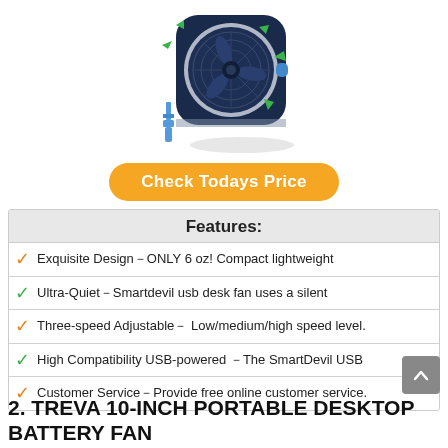[Figure (photo): USB desktop fan with dark blue/navy body, green air flow arrows, and a blue USB cable shown beside it]
[Figure (other): Orange rounded button with text 'Check Todays Price']
| Features: |
| --- |
| Exquisite Design–ONLY 6 oz! Compact lightweight |
| Ultra-Quiet–Smartdevil usb desk fan uses a silent |
| Three-speed Adjustable– Low/medium/high speed level. |
| High Compatibility USB-powered –The SmartDevil USB |
| Customer Service–Provide free online customer service. |
2. TREVA 10-INCH PORTABLE DESKTOP BATTERY FAN